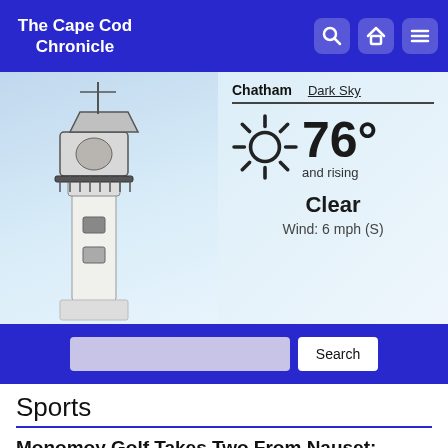The Cape Cod Chronicle
[Figure (screenshot): Lighthouse with weather widget showing Chatham / Dark Sky tabs, 76° and rising, Clear, Wind: 6 mph (S)]
Chatham  Dark Sky
76° and rising
Clear
Wind: 6 mph (S)
Sports
Monomoy Golf Takes Two From Nauset; Sharks Aiming For State Championship Berth
April 13, 2022